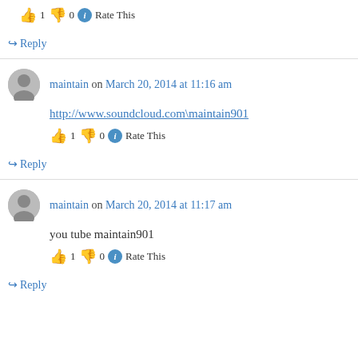👍 1 👎 0 ℹ Rate This
↪ Reply
maintain on March 20, 2014 at 11:16 am
http://www.soundcloud.com\maintain901
👍 1 👎 0 ℹ Rate This
↪ Reply
maintain on March 20, 2014 at 11:17 am
you tube maintain901
👍 1 👎 0 ℹ Rate This
↪ Reply